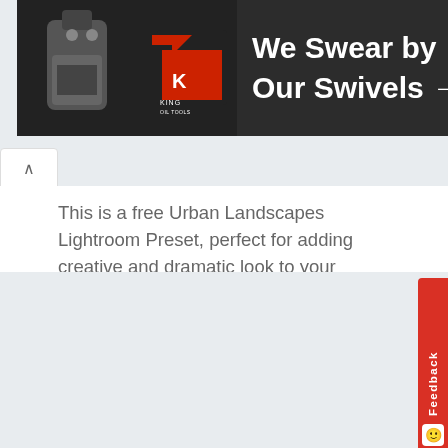[Figure (screenshot): Advertisement banner for King Oil Tools with text 'We Swear by Our Swivels →' and the King Oil Tools logo on dark background]
This is a free Urban Landscapes Lightroom Preset, perfect for adding creative and dramatic look to your photos shot in the city. This preset will work for photos of buildings,...
Freebies
#Free Lightroom Preset
#Free Lightroom Presets
#Free Preset